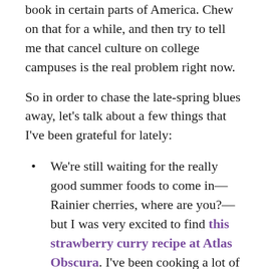book in certain parts of America. Chew on that for a while, and then try to tell me that cancel culture on college campuses is the real problem right now.
So in order to chase the late-spring blues away, let's talk about a few things that I've been grateful for lately:
We're still waiting for the really good summer foods to come in—Rainier cherries, where are you?—but I was very excited to find this strawberry curry recipe at Atlas Obscura. I've been cooking a lot of Indian food for the past year, thanks to Meera Sodha's excellent cookbooks, and this summery treat of a recipe felt quite in line with what I've learned from Sodha.